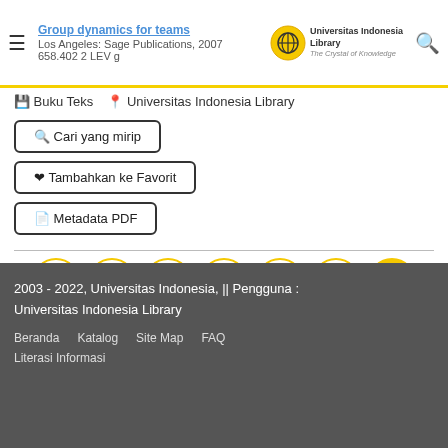Group dynamics for teams
Los Angeles: Sage Publications, 2007
658.402 2 LEV g
Buku Teks  Universitas Indonesia Library
Cari yang mirip
Tambahkan ke Favorit
Metadata PDF
<< 2 3 4 5 6 7 (active) 8 9 10 11 >>
2003 - 2022, Universitas Indonesia, || Pengguna : Universitas Indonesia Library
Beranda    Katalog    Site Map    FAQ
Literasi Informasi